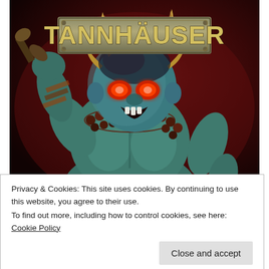[Figure (photo): Tannhäuser board game box art featuring a demonic/monstrous creature with blue skin, horns, glowing red eyes, a bead necklace, and muscular build raising a weapon. The TANNHÄUSER logo appears at the top on a metallic plaque against a dark red/brown background.]
Privacy & Cookies: This site uses cookies. By continuing to use this website, you agree to their use.
To find out more, including how to control cookies, see here: Cookie Policy
Close and accept